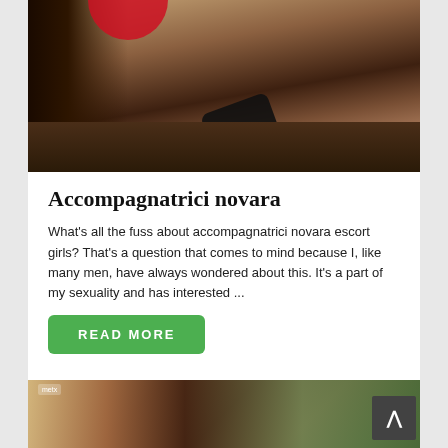[Figure (photo): A woman in red clothing posing on a dark leather couch, holding a black high-heeled shoe. Dark curly hair visible on the left side.]
Accompagnatrici novara
What's all the fuss about accompagnatrici novara escort girls? That's a question that comes to mind because I, like many men, have always wondered about this. It's a part of my sexuality and has interested ...
READ MORE
[Figure (photo): Partial view of a woman with brown hair, wearing a purple fairy/butterfly costume, sitting on a colorful floral background. A watermark logo is visible in the top left corner. A dark scroll-to-top button is visible in the bottom right.]